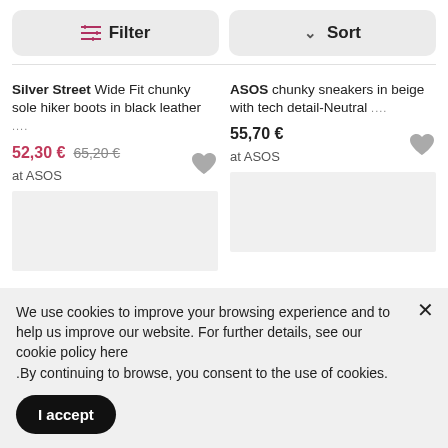Filter
Sort
Silver Street Wide Fit chunky sole hiker boots in black leather ....
52,30 € 65,20 €
at ASOS
ASOS chunky sneakers in beige with tech detail-Neutral ....
55,70 €
at ASOS
We use cookies to improve your browsing experience and to help us improve our website. For further details, see our cookie policy here .By continuing to browse, you consent to the use of cookies.
I accept